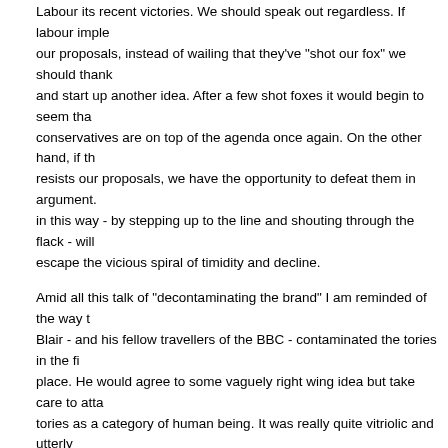Labour its recent victories. We should speak out regardless. If labour implements our proposals, instead of wailing that they've "shot our fox" we should thank and start up another idea. After a few shot foxes it would begin to seem that conservatives are on top of the agenda once again. On the other hand, if the resists our proposals, we have the opportunity to defeat them in argument. in this way - by stepping up to the line and shouting through the flack - will escape the vicious spiral of timidity and decline.
Amid all this talk of "decontaminating the brand" I am reminded of the way Blair - and his fellow travellers of the BBC - contaminated the tories in the place. He would agree to some vaguely right wing idea but take care to att tories as a category of human being. It was really quite vitriolic and utterly shameless. He conceded everything but he held labour together on a canny tribal basis. The more he agreed with us on policy, the more he insulted and humiliated and traduced us as people. Despite the tears and the applause remains a wee stoat of a man.
So on security, let us set out our stall. Let us not be afraid to reassure the electorate by sounding fierce in our hatred - justified hatred - of those who maim or murder us. Let us not be afraid to show passion and anger. The the people cannot resonate to sweet reason alone.
Posted by: Simon Denis | June 29, 2007 at 15:46